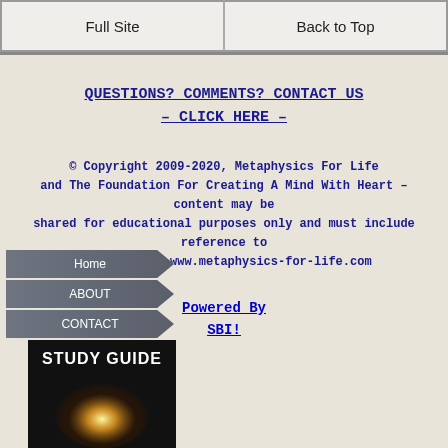Full Site | Back to Top
QUESTIONS? COMMENTS? CONTACT US – CLICK HERE –
© Copyright 2009-2020, Metaphysics For Life and The Foundation For Creating A Mind With Heart – content may be shared for educational purposes only and must include reference to this source: www.metaphysics-for-life.com
Powered By SBI!
[Figure (screenshot): Navigation menu with Home, ABOUT, CONTACT items in grey arrow-shaped tabs, and a Study Guide book cover image]
STUDY GUIDE